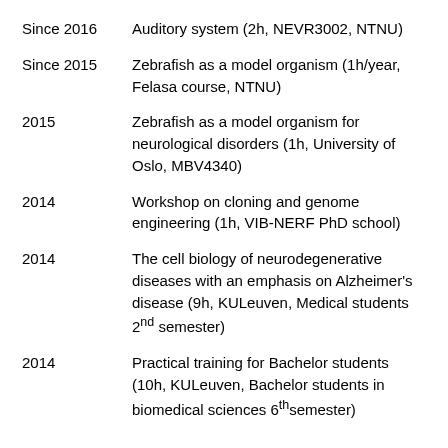Since 2016	Auditory system (2h, NEVR3002, NTNU)
Since 2015	Zebrafish as a model organism (1h/year, Felasa course, NTNU)
2015	Zebrafish as a model organism for neurological disorders (1h, University of Oslo, MBV4340)
2014	Workshop on cloning and genome engineering (1h, VIB-NERF PhD school)
2014	The cell biology of neurodegenerative diseases with an emphasis on Alzheimer's disease (9h, KULeuven, Medical students 2nd semester)
2014	Practical training for Bachelor students (10h, KULeuven, Bachelor students in biomedical sciences 6th semester)